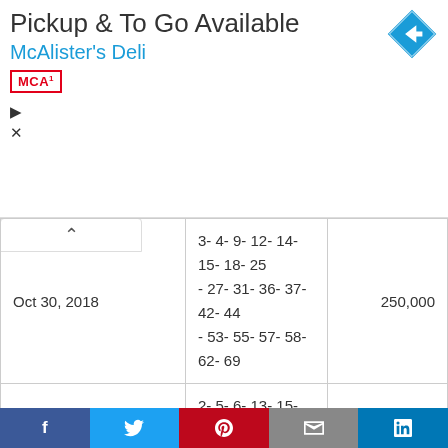[Figure (screenshot): Ad banner for McAlister's Deli with logo, navigation icon, Pickup & To Go Available text]
| Date | Numbers | Amount |
| --- | --- | --- |
| Oct 30, 2018 | 3- 4- 9- 12- 14- 15- 18- 25 - 27- 31- 36- 37- 42- 44 - 53- 55- 57- 58- 62- 69 | 250,000 |
| Oct 29, 2018 | 2- 5- 6- 13- 15- 20- 22- 23 - 25- 29- 39- 42- 45- 51 - 55- 56- 59- 60- 61- 66 | 250,000 |
| Oct 28, 2018 | 1- 2- 14- 15- 17- 20- 21- 22 - 23- 27- 30- 36- 43- 44 - 46- 52- 61- 63- 64- 66 | 250,000 |
|  | 2- 6- 7- 12- 21- 23- 25- 29 |  |
f  Twitter  P  Email  in